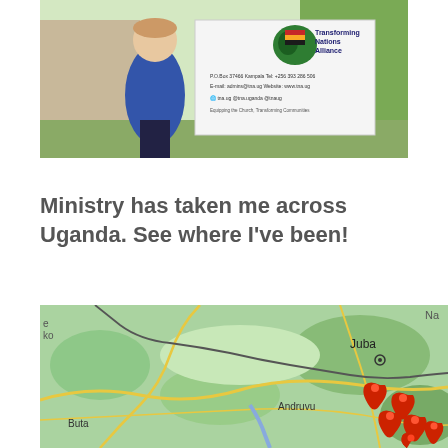[Figure (photo): Person in blue shirt standing in front of a Transforming Nations Alliance banner/sign outdoors.]
Ministry has taken me across Uganda. See where I've been!
[Figure (map): Google map showing northern Uganda and South Sudan border region with red location pins clustered near Gulu area. Cities labeled include Juba, Andruvu, and Buta.]